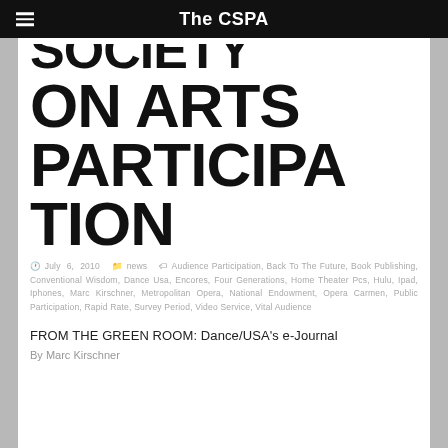The CSPA
ON ARTS PARTICIPATION
July 6, 2010  news  Audience Participation, Back To The Future, Book Publishing, Conventional Wisdom, Dance Usa, Encores, Four Generations, Home Theater Pcs, Hulu, Ipad, Iphones, Marc Kirschner, Metropolitan Opera, National Endowment, Opera Carmen, Public Participation, Rapid Rate, Survey Period, Video Service, Vital Audience
FROM THE GREEN ROOM: Dance/USA's e-Journal
By Marc Kirschner